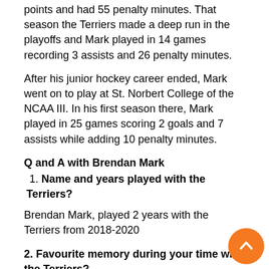points and had 55 penalty minutes. That season the Terriers made a deep run in the playoffs and Mark played in 14 games recording 3 assists and 26 penalty minutes.
After his junior hockey career ended, Mark went on to play at St. Norbert College of the NCAA III. In his first season there, Mark played in 25 games scoring 2 goals and 7 assists while adding 10 penalty minutes.
Q and A with Brendan Mark
1. Name and years played with the Terriers?
Brendan Mark, played 2 years with the Terriers from 2018-2020
2. Favourite memory during your time with the Terriers?
Favorite memory was winning game 7 in Nipawin